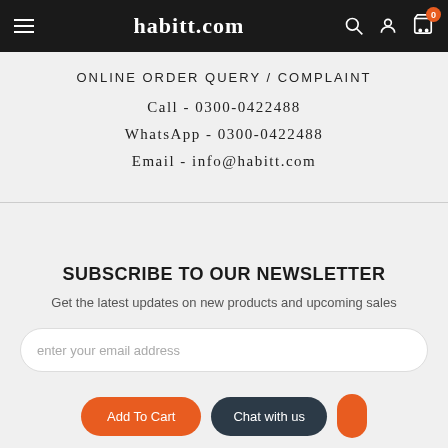habitt.com
ONLINE ORDER QUERY / COMPLAINT
Call - 0300-0422488
WhatsApp - 0300-0422488
Email - info@habitt.com
SUBSCRIBE TO OUR NEWSLETTER
Get the latest updates on new products and upcoming sales
enter your email address